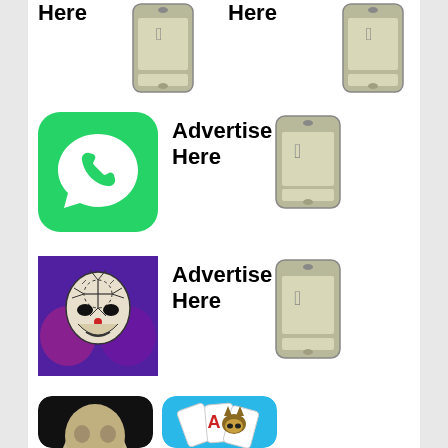[Figure (screenshot): Top strip showing 'Here' text labels and two iOS phone placeholder icons]
[Figure (illustration): WhatsApp app icon - green background with white phone in speech bubble]
Advertise Here
[Figure (illustration): iOS phone placeholder icon]
[Figure (illustration): Voodoo doll / skull face app icon with purple background]
Advertise Here
[Figure (illustration): iOS phone placeholder icon]
[Figure (photo): Bald human head/skull photo with black background and rounded corners]
[Figure (illustration): Blue app icon with playing cards and cat character]